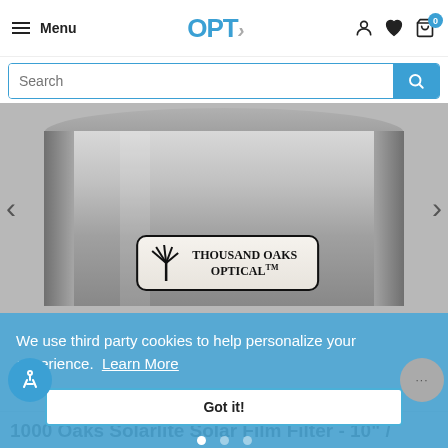Menu | OPT (logo) | account | wishlist | cart 0
Search
[Figure (photo): Close-up photo of a circular aluminum solar filter canister with a label reading THOUSAND OAKS OPTICAL TM, with navigation arrows on either side]
We use third party cookies to help personalize your experience.  Learn More
Got it!
1000 Oaks Solarlite Solar Film Filter - 10" /